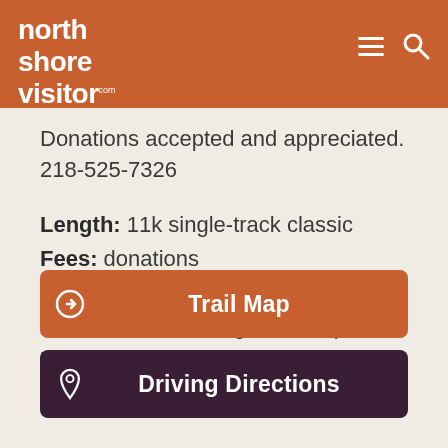north shore visitor.com
Donations accepted and appreciated.
218-525-7326
Length: 11k single-track classic
Fees: donations
Difficulty: more and most difficult
Amenities: Warming shack, open hours vary.
Trail Map
Driving Directions